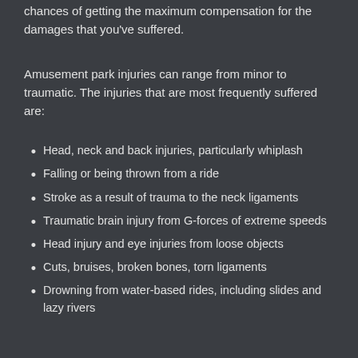chances of getting the maximum compensation for the damages that you've suffered.
Amusement park injuries can range from minor to traumatic. The injuries that are most frequently suffered are:
Head, neck and back injuries, particularly whiplash
Falling or being thrown from a ride
Stroke as a result of trauma to the neck ligaments
Traumatic brain injury from G-forces of extreme speeds
Head injury and eye injuries from loose objects
Cuts, bruises, broken bones, torn ligaments
Drowning from water-based rides, including slides and lazy rivers